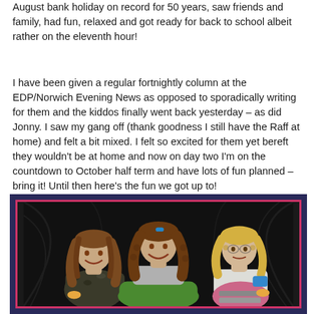August bank holiday on record for 50 years, saw friends and family, had fun, relaxed and got ready for back to school albeit rather on the eleventh hour!
I have been given a regular fortnightly column at the EDP/Norwich Evening News as opposed to sporadically writing for them and the kiddos finally went back yesterday – as did Jonny. I saw my gang off (thank goodness I still have the Raff at home) and felt a bit mixed. I felt so excited for them yet bereft they wouldn't be at home and now on day two I'm on the countdown to October half term and have lots of fun planned – bring it! Until then here's the fun we got up to!
[Figure (photo): Three children sitting in what appears to be a tent at night. On the left, a child with long wavy hair wearing a camouflage jacket. In the middle, an older girl with curly hair wearing a grey top, holding a green sleeping bag. On the right, a toddler with light curly hair wearing a white top and striped bottoms. They appear to be at an outdoor camping event.]